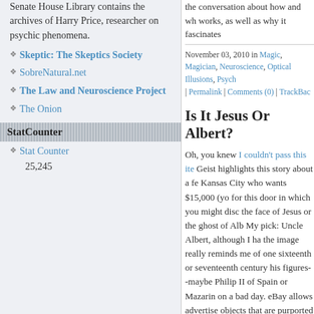Senate House Library contains the archives of Harry Price, researcher on psychic phenomena.
Skeptic: The Skeptics Society
SobreNatural.net
The Law and Neuroscience Project
The Onion
StatCounter
Stat Counter
25,245
the conversation about how and wh works, as well as why it fascinates
November 03, 2010 in Magic, Magician Neuroscience, Optical Illusions, Psych | Permalink | Comments (0) | TrackBac
Is It Jesus Or Albert?
Oh, you knew I couldn't pass this ite Geist highlights this story about a fe Kansas City who wants $15,000 (yo for this door in which you might disc the face of Jesus or the ghost of Alb My pick: Uncle Albert, although I ha the image really reminds me of one sixteenth or seventeenth century his figures--maybe Philip II of Spain or Mazarin on a bad day. eBay allows advertise objects that are purported "haunted." The theory: the buyer pa object and actually has something l ghost decides to wander off before delivery service drops off the packa
If you like this example of pareidolia this image discussed in the Telegra supposed to be Jesus seen in a m